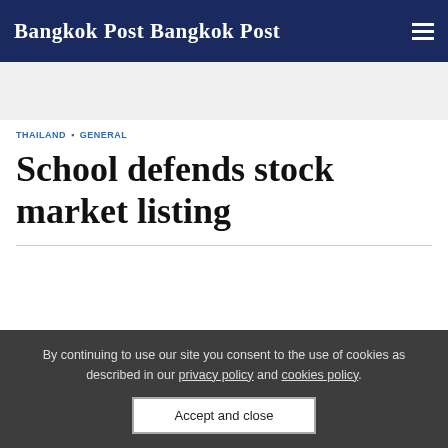Bangkok Post
THAILAND · GENERAL
School defends stock market listing
By continuing to use our site you consent to the use of cookies as described in our privacy policy and cookies policy.
Accept and close